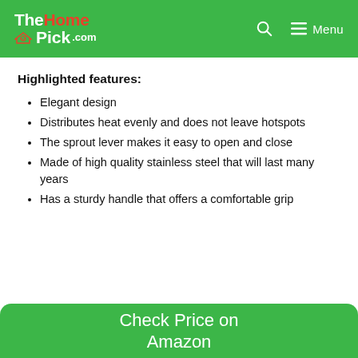TheHomePick.com — Menu
Highlighted features:
Elegant design
Distributes heat evenly and does not leave hotspots
The sprout lever makes it easy to open and close
Made of high quality stainless steel that will last many years
Has a sturdy handle that offers a comfortable grip
Check Price on Amazon